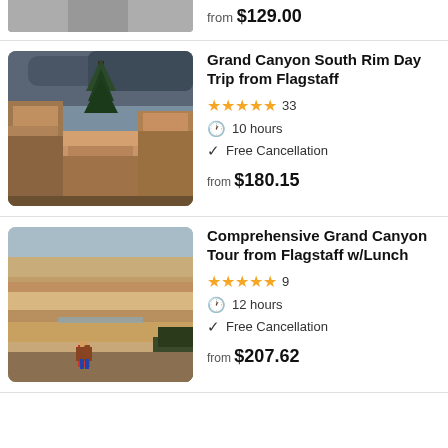from $129.00
[Figure (photo): Partial view of a paved stone surface, top of a listing image]
Grand Canyon South Rim Day Trip from Flagstaff
★★★★½ 33
10 hours
Free Cancellation
from $180.15
[Figure (photo): Grand Canyon South Rim view with rocky cliffs and a pine tree in the foreground against a stormy sky]
Comprehensive Grand Canyon Tour from Flagstaff w/Lunch
★★★★½ 9
12 hours
Free Cancellation
from $207.62
[Figure (photo): Grand Canyon panoramic view with a hiker in red jacket sitting on the rim overlooking layered canyon walls and the Colorado River]